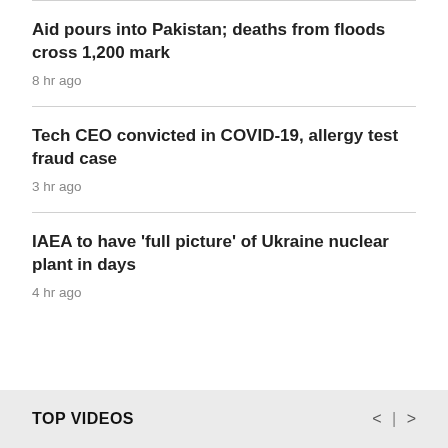Aid pours into Pakistan; deaths from floods cross 1,200 mark
8 hr ago
Tech CEO convicted in COVID-19, allergy test fraud case
3 hr ago
IAEA to have 'full picture' of Ukraine nuclear plant in days
4 hr ago
TOP VIDEOS